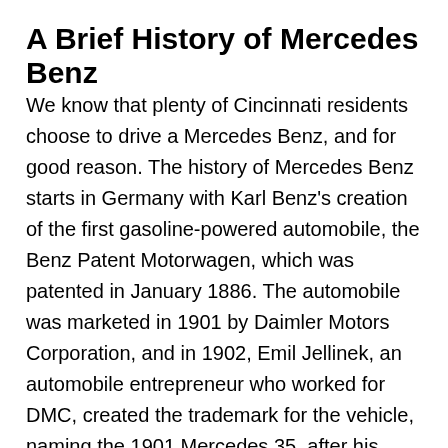A Brief History of Mercedes Benz
We know that plenty of Cincinnati residents choose to drive a Mercedes Benz, and for good reason. The history of Mercedes Benz starts in Germany with Karl Benz's creation of the first gasoline-powered automobile, the Benz Patent Motorwagen, which was patented in January 1886. The automobile was marketed in 1901 by Daimler Motors Corporation, and in 1902, Emil Jellinek, an automobile entrepreneur who worked for DMC, created the trademark for the vehicle, naming the 1901 Mercedes 35, after his